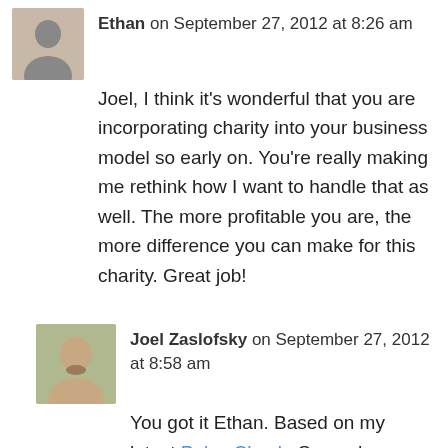Ethan on September 27, 2012 at 8:26 am
Joel, I think it's wonderful that you are incorporating charity into your business model so early on. You're really making me rethink how I want to handle that as well. The more profitable you are, the more difference you can make for this charity. Great job!
Joel Zaslofsky on September 27, 2012 at 8:58 am
You got it Ethan. Based on my latest Pulse Check, Second Harvest Heartland won't be swimming in major donations soon. But both they and I are taking the long…